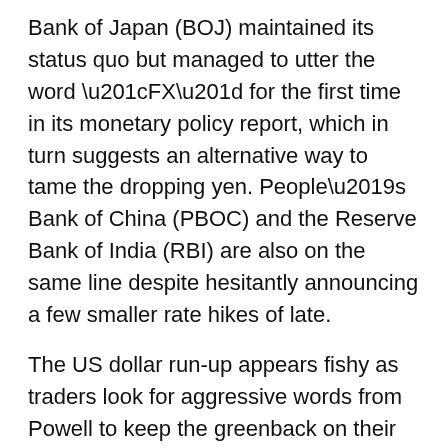Bank of Japan (BOJ) maintained its status quo but managed to utter the word “FX” for the first time in its monetary policy report, which in turn suggests an alternative way to tame the dropping yen. People’s Bank of China (PBOC) and the Reserve Bank of India (RBI) are also on the same line despite hesitantly announcing a few smaller rate hikes of late.
The US dollar run-up appears fishy as traders look for aggressive words from Powell to keep the greenback on their radar, else the yields are likely to trigger the much-await pullback move.
That being said, the USD strength joins market pessimism to weigh on the Antipodeans and commodity prices. However, crude oil braces for further upside as the US calls oil refiners’ meetings to manage the supplies and prices despite Russia’s refrain from altering the oil-for-ruble scheme.